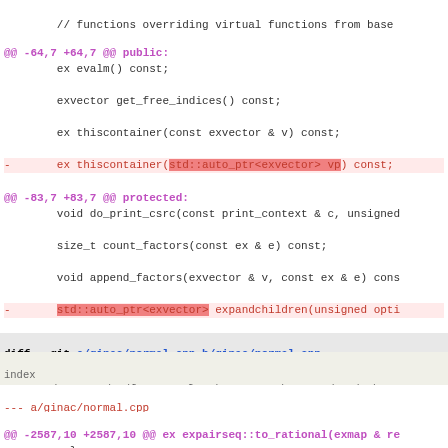// functions overriding virtual functions from base
 public:
@@ -64,7 +64,7 @@ public:
        ex evalm() const;
        exvector get_free_indices() const;
        ex thiscontainer(const exvector & v) const;
-       ex thiscontainer(std::auto_ptr<exvector> vp) const;
+       ex thiscontainer(exvector && v) const;
        ex conjugate() const;
        ex real_part() const;
        ex imag_part() const;
@@ -83,7 +83,7 @@ protected:
        void do_print_csrc(const print_context & c, unsigned
        size_t count_factors(const ex & e) const;
        void append_factors(exvector & v, const ex & e) cons
-       std::auto_ptr<exvector> expandchildren(unsigned opti
+       exvector expandchildren(unsigned options) const;
 public:
        const exvector & get_factors() const;
 };
diff --git a/ginac/normal.cpp b/ginac/normal.cpp
index
464ecac9b6898577d16df93e22049f40ed375501..18b4637c4cbee1b3d5
100644 (file)
--- a/ginac/normal.cpp
+++ b/ginac/normal.cpp
@@ -2587,10 +2587,10 @@ ex expairseq::to_rational(exmap & re
           }
           ex oc = overall_coeff.to_rational(repl);
           if (oc.info(info_flags::numeric))